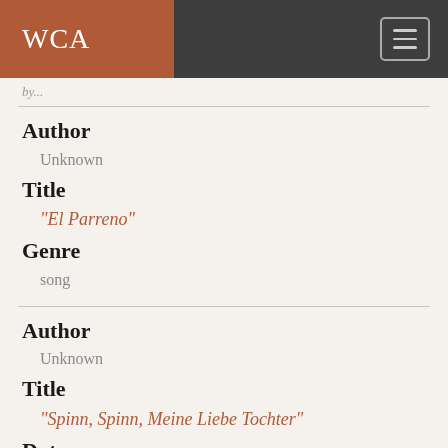WCA
by...
Author
Unknown
Title
"El Parreno"
Genre
song
Author
Unknown
Title
"Spinn, Spinn, Meine Liebe Tochter"
Date
n.d.